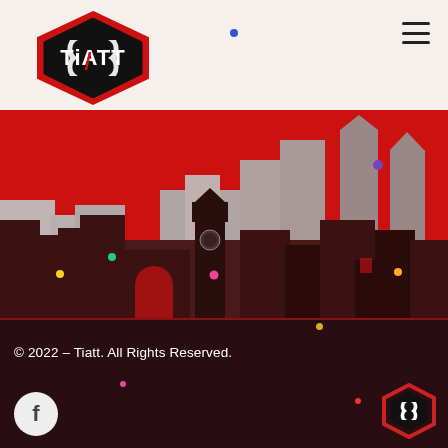[Figure (logo): Tiatt logo: hexagonal black/red/white badge with stylized TiATT text]
[Figure (illustration): Stylized city skyline illustration with red sky background and dark brown/grey building silhouettes, with small colored decorative dots scattered throughout]
© 2022 – Tiatt. All Rights Reserved.
[Figure (logo): Small Tiatt hexagonal logo (red outline, black/white) in bottom right of footer]